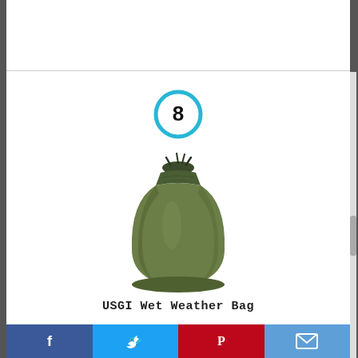[Figure (other): Number 8 inside a cyan/blue circle badge]
[Figure (photo): Olive green military-style stuffsack / wet weather bag, cylindrical shape with drawstring top]
USGI Wet Weather Bag
[Figure (other): Social media share bar with Facebook, Twitter, Pinterest, and email icons]